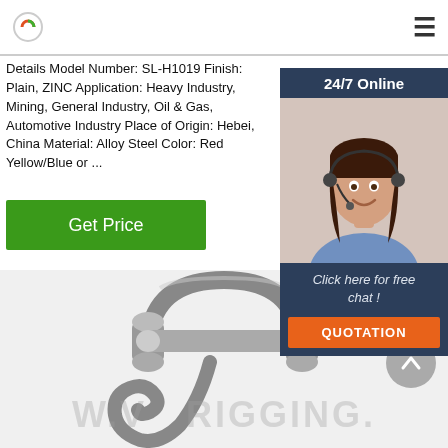[Logo] [Hamburger menu]
Details Model Number: SL-H1019 Finish: Plain, ZINC Application: Heavy Industry, Mining, General Industry, Oil & Gas, Automotive Industry Place of Origin: Hebei, China Material: Alloy Steel Color: Red Yellow/Blue or ...
Get Price
[Figure (photo): 24/7 Online widget with a female customer service agent wearing a headset, smiling. Below: 'Click here for free chat!' and an orange QUOTATION button.]
[Figure (photo): Close-up photograph of a metal rigging shackle/hook component in silver/chrome finish on a white background.]
W.V__ARIGGING.